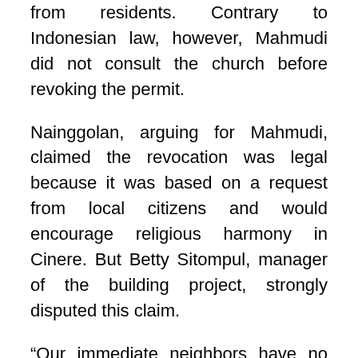from residents. Contrary to Indonesian law, however, Mahmudi did not consult the church before revoking the permit.
Nainggolan, arguing for Mahmudi, claimed the revocation was legal because it was based on a request from local citizens and would encourage religious harmony in Cinere. But Betty Sitompul, manager of the building project, strongly disputed this claim.
“Our immediate neighbors have no objection,” she told Compass. “A small minority who don’t think this way have influenced people from outside the immediate neighborhood to make this complaint.”
Sitompul added that the church had been meeting in a naval facility located about five kilometers (nearly three miles) from the church building since the permit was